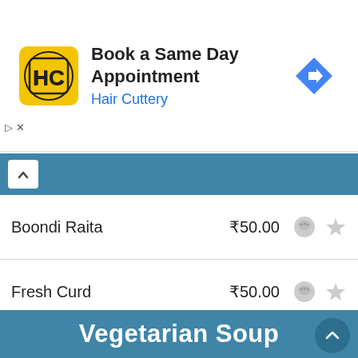[Figure (other): Hair Cuttery advertisement banner: logo (yellow square with HC lettering), text 'Book a Same Day Appointment' and 'Hair Cuttery' in blue, blue diamond arrow icon on right.]
Boondi Raita  ₹50.00
Fresh Curd  ₹50.00
Green Salad  ₹60.00
Mix Veg Raita  ₹50.00
Roasted Papad  ₹15.00
Fried Papad  ₹20.00
Masala Papad  ₹25.00
Vegetarian Soup